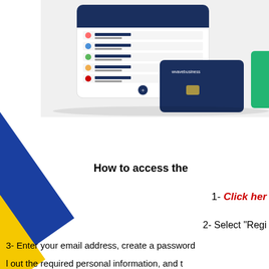[Figure (screenshot): Mobile app screenshot showing Wave Business currency balances and a dark blue Wave Business debit card, with a partial green card visible at right edge]
How to access the
1- Click here
2- Select "Regi..."
3- Enter your email address, create a password
...l out the required personal information, and t...